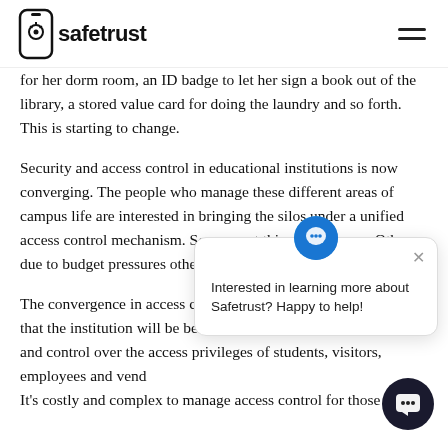safetrust
for her dorm room, an ID badge to let her sign a book out of the library, a stored value card for doing the laundry and so forth. This is starting to change.
Security and access control in educational institutions is now converging. The people who manage these different areas of campus life are interested in bringing the silos under a unified access control mechanism. Some want this convergence. Others due to budget pressures other stakeholders.
[Figure (other): Chat popup overlay with icon and text: Interested in learning more about Safetrust? Happy to help!]
The convergence in access control also stems from a recognition that the institution will be better off if it has integrated awareness and control over the access privileges of students, visitors, employees and vendors. It's costly and complex to manage access control for those